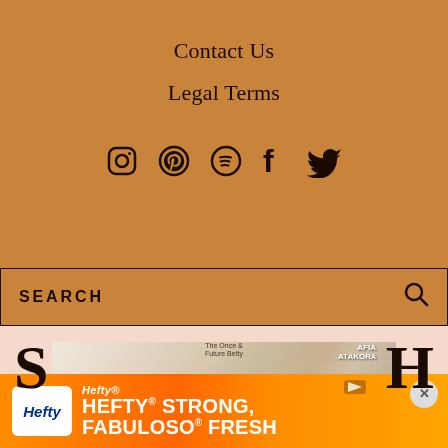Contact Us
Legal Terms
[Figure (illustration): Social media icons: Instagram, Pinterest, Spotify, Facebook, Twitter]
SEARCH
[Figure (photo): Books laid flat including titles by Sheila Heti and Afia Atakora on a light background, partially overlaid by large S and H letters]
[Figure (infographic): Hefty advertisement banner: HEFTY STRONG, FABULOSO FRESH with Hefty and Fabuloso logos on orange background]